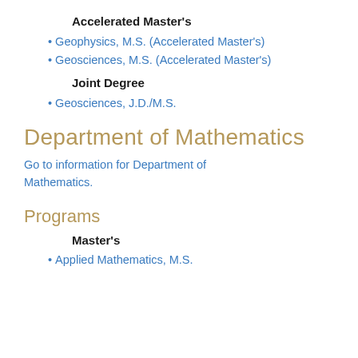Accelerated Master's
Geophysics, M.S. (Accelerated Master's)
Geosciences, M.S. (Accelerated Master's)
Joint Degree
Geosciences, J.D./M.S.
Department of Mathematics
Go to information for Department of Mathematics.
Programs
Master's
Applied Mathematics, M.S.